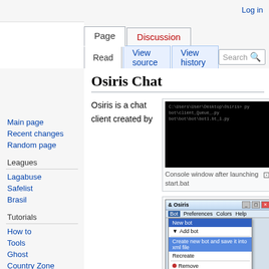Log in
Page | Discussion | Read | View source | View history | Search
Osiris Chat
Osiris is a chat client created by
[Figure (screenshot): Console window showing a command prompt with dark background after launching start.bat]
Console window after launching start.bat
[Figure (screenshot): Osiris GUI window showing Bot menu open with options: New bot, Add bot, Create new bot and save it into xml file, Recreate, Remove, Edit, Connect, Show chat window, Disable reconnect]
Main page
Recent changes
Random page
Leagues
Lagabuse
Safelist
Brasil
Tutorials
How to
Tools
Ghost
Country Zone